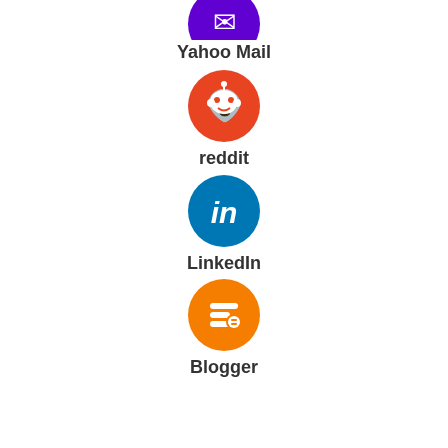[Figure (illustration): Yahoo Mail purple circle icon (partially visible at top)]
Yahoo Mail
[Figure (illustration): Reddit orange circle icon with alien logo]
reddit
[Figure (illustration): LinkedIn blue circle icon with 'in' logo]
LinkedIn
[Figure (illustration): Blogger orange circle icon with 'B' logo]
Blogger
[Figure (illustration): StumbleUpon red circle icon with 'su' logo]
StumbleUpon
[Figure (illustration): Tumblr dark blue circle icon with 't' logo]
Tumblr
[Figure (illustration): Red circle icon with heart logo (partially visible at bottom)]